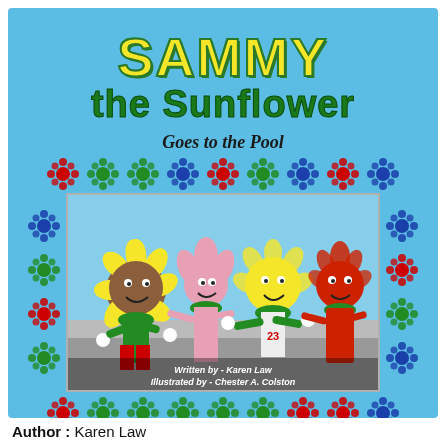SAMMY the Sunflower Goes to the Pool
[Figure (illustration): Book cover illustration showing four cartoon flower characters (a sunflower, pink flower, yellow flower, red flower) standing together, surrounded by colorful red, green, and blue flower decorations on a light blue background. Credits: Written by Karen Law, Illustrated by Chester A. Colston.]
Author : Karen Law